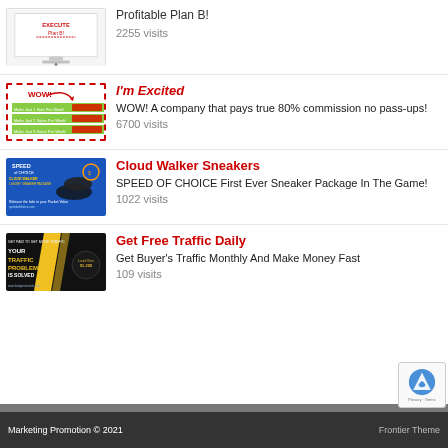[Figure (screenshot): Product image for Profitable Plan B - iMac computer display with 'Execute Plan B' graphic]
Profitable Plan B!
2255 visits
[Figure (screenshot): WOW! banner with dashed red border showing 3 income tier bars in green]
I'm Excited
WOW! A company that pays true 80% commission no pass-ups!
6700 visits
[Figure (screenshot): Speed of Choice Cloud Walker Sneakers blue promo banner with sneakers]
Cloud Walker Sneakers
SPEED OF CHOICE First Ever Sneaker Package In The Game!
1022 visits
[Figure (screenshot): Get Free Traffic Daily - dark background with yellow stripe and traffic problem solved text]
Get Free Traffic Daily
Get Buyer's Traffic Monthly And Make Money Fast
109 visits
Marketing Promotion © 2021
Frontier Theme